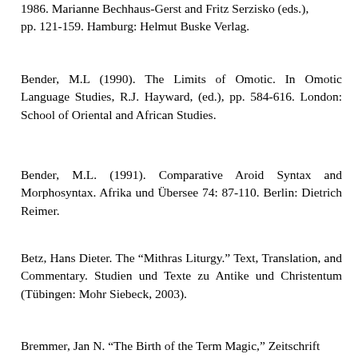1986. Marianne Bechhaus-Gerst and Fritz Serzisko (eds.), pp. 121-159. Hamburg: Helmut Buske Verlag.
Bender, M.L (1990). The Limits of Omotic. In Omotic Language Studies, R.J. Hayward, (ed.), pp. 584-616. London: School of Oriental and African Studies.
Bender, M.L. (1991). Comparative Aroid Syntax and Morphosyntax. Afrika und Übersee 74: 87-110. Berlin: Dietrich Reimer.
Betz, Hans Dieter. The “Mithras Liturgy.” Text, Translation, and Commentary. Studien und Texte zu Antike und Christentum (Tübingen: Mohr Siebeck, 2003).
Bremmer, Jan N. “The Birth of the Term Magic,” Zeitschrift